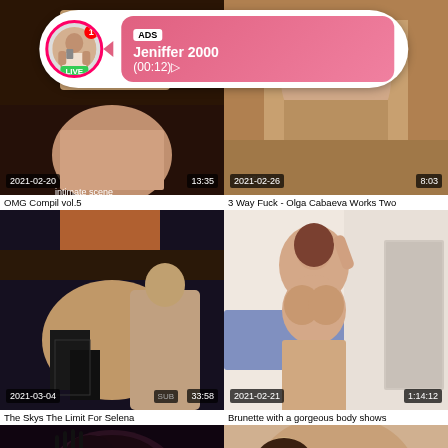[Figure (screenshot): Video thumbnail grid with ad overlay showing Jeniffer 2000 live ad, and video thumbnails for OMG Compil vol.5 (2021-02-20, 13:35), 3 Way Fuck - Olga Cabaeva Works Two (2021-02-26, 8:03), The Skys The Limit For Selena (2021-03-04, SUB, 33:58), Brunette with a gorgeous body shows (2021-02-21, 1:14:12), and two more partial thumbnails at the bottom.]